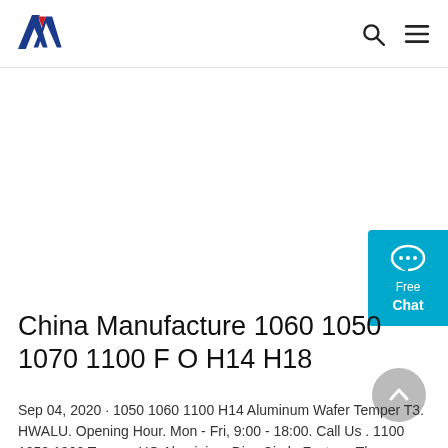AW logo, search icon, menu icon
[Figure (logo): AW brand logo with blue and red chevron/triangle shapes]
[Figure (illustration): Free Chat widget button in cyan/teal color with speech bubble icon]
China Manufacture 1060 1050 1070 1100 F O H14 H18
Sep 04, 2020 · 1050 1060 1100 H14 Aluminum Wafer Temper T3. HWALU. Opening Hour. Mon - Fri, 9:00 - 18:00. Call Us . 1100 1050 1060 Temper HO Aluminium Disc Circle Factory. The